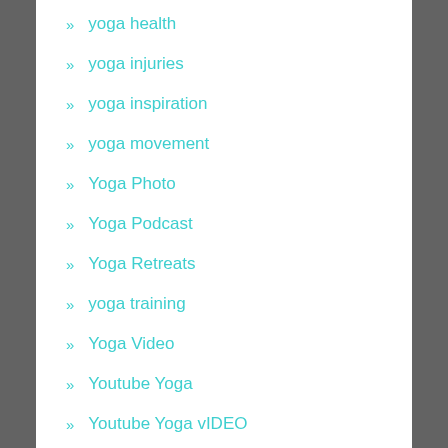yoga health
yoga injuries
yoga inspiration
yoga movement
Yoga Photo
Yoga Podcast
Yoga Retreats
yoga training
Yoga Video
Youtube Yoga
Youtube Yoga vIDEO
ARCHIVES
March 2022
February 2022